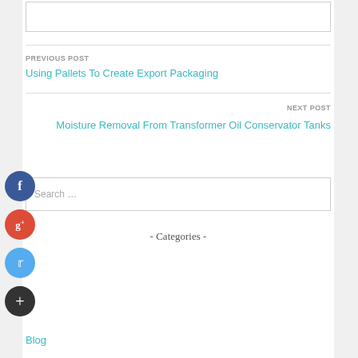PREVIOUS POST
Using Pallets To Create Export Packaging
NEXT POST
Moisture Removal From Transformer Oil Conservator Tanks
Search …
- Categories -
Blog